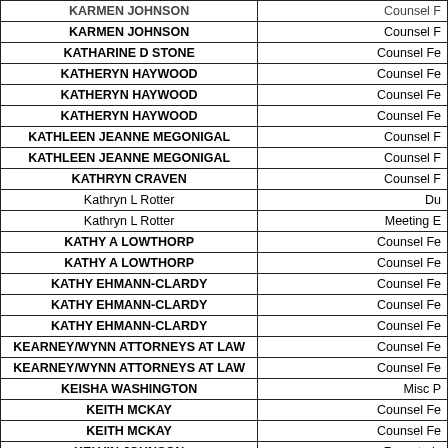| Name | Type |
| --- | --- |
| KARMEN JOHNSON | Counsel F |
| KARMEN JOHNSON | Counsel F |
| KATHARINE D STONE | Counsel Fe |
| KATHERYN HAYWOOD | Counsel Fe |
| KATHERYN HAYWOOD | Counsel Fe |
| KATHERYN HAYWOOD | Counsel Fe |
| KATHLEEN JEANNE MEGONIGAL | Counsel F |
| KATHLEEN JEANNE MEGONIGAL | Counsel F |
| KATHRYN CRAVEN | Counsel F |
| Kathryn L Rotter | Du |
| Kathryn L Rotter | Meeting E |
| KATHY A LOWTHORP | Counsel Fe |
| KATHY A LOWTHORP | Counsel Fe |
| KATHY EHMANN-CLARDY | Counsel Fe |
| KATHY EHMANN-CLARDY | Counsel Fe |
| KATHY EHMANN-CLARDY | Counsel Fe |
| KEARNEY/WYNN ATTORNEYS AT LAW | Counsel Fe |
| KEARNEY/WYNN ATTORNEYS AT LAW | Counsel Fe |
| KEISHA WASHINGTON | Misc P |
| KEITH MCKAY | Counsel Fe |
| KEITH MCKAY | Counsel Fe |
| KELVIN JOHNSON | Reporter's |
| KENNETH R GORDON PC | Counsel Fe |